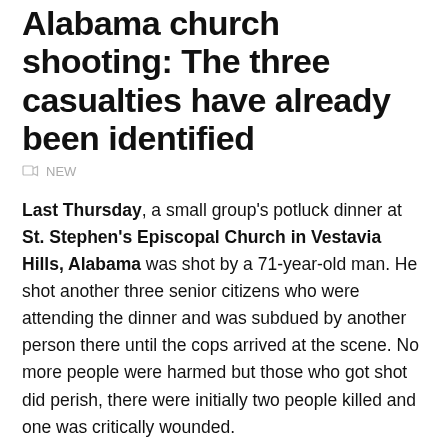Alabama church shooting: The three casualties have already been identified
NEW
Last Thursday, a small group's potluck dinner at St. Stephen's Episcopal Church in Vestavia Hills, Alabama was shot by a 71-year-old man. He shot another three senior citizens who were attending the dinner and was subdued by another person there until the cops arrived at the scene. No more people were harmed but those who got shot did perish, there were initially two people killed and one was critically wounded.
On Friday, the Alabama Police Department confirmed that a third person passed away at the hospital. No identification of the suspect has been released to the public yet. Since there were three people shot dead, this can definitely be considered another mass shooting in the